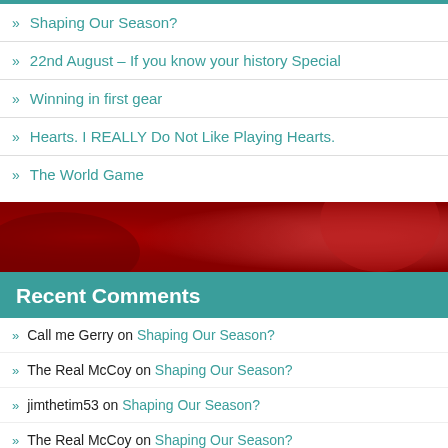» Shaping Our Season?
» 22nd August – If you know your history Special
» Winning in first gear
» Hearts. I REALLY Do Not Like Playing Hearts.
» The World Game
[Figure (photo): Red and white sports imagery, blurred/decorative background band]
Recent Comments
» Call me Gerry on Shaping Our Season?
» The Real McCoy on Shaping Our Season?
» jimthetim53 on Shaping Our Season?
» The Real McCoy on Shaping Our Season?
» The Leopard's Rimshot on Shaping Our Season?
[Figure (photo): Red and white sports imagery, decorative bottom band]
Archives
Select Month